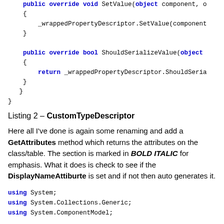public override void SetValue(object component, o
{
    _wrappedPropertyDescriptor.SetValue(component
}

public override bool ShouldSerializeValue(object
{
    return _wrappedPropertyDescriptor.ShouldSeria
}
    }
}
Listing 2 – CustomTypeDescriptor
Here all I've done is again some renaming and add a GetAttributes method which returns the attributes on the class/table. The section is marked in BOLD ITALIC for emphasis. What it does is check to see if the DisplayNameAttiburte is set and if not then auto generates it.
using System;
using System.Collections.Generic;
using System.ComponentModel;